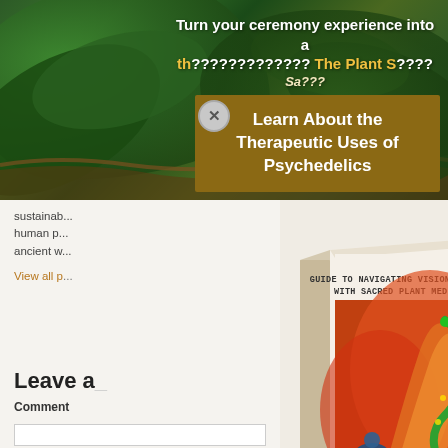[Figure (screenshot): Web page screenshot showing a popup modal over a background image. The background shows tropical jungle leaves. A golden/brown modal popup with title 'Learn About the Therapeutic Uses of Psychedelics' overlays the page. A book cover showing 'Guide to Navigating Visionary States with Sacred Plant Medicines by Lorna Liana' is visible. The left panel shows partial body text about sustainability and human practices, a 'View all p...' link in orange, a 'Leave a Comment' heading, and a 'Comment' label.]
Turn your ceremony experience into a th... with The Plant S...
Sa...
Learn About the Therapeutic Uses of Psychedelics
sustainab...
human p...
ancient w...
View all p...
Leave a
Comment